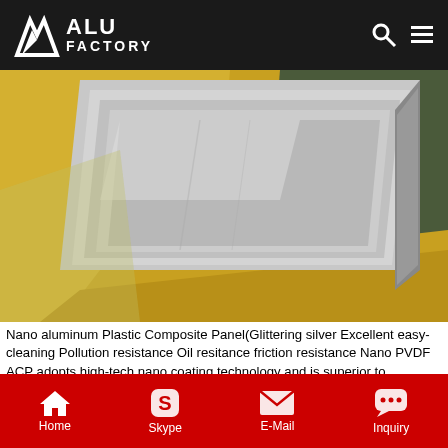ALU FACTORY
[Figure (photo): Nano aluminum plastic composite panels (glittering silver) stacked and wrapped in yellow protective packaging material on a green surface]
Nano aluminum Plastic Composite Panel(Glittering silver Excellent easy-cleaning Pollution resistance Oil resitance friction resistance Nano PVDF ACP adopts high-tech,nano coating technology and is superior to traditional PVDF ACP in several prominent properties,sThe coating surface of Nano PVDA ACP owns excellent self-cleaning capability,Generally,the normally ACP can be polluted easily by dust and rain after a certain period of use, particularly
Home   Skype   E-Mail   Inquiry